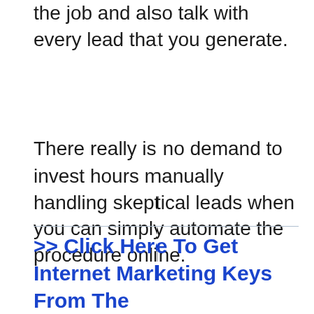the job and also talk with every lead that you generate.
There really is no demand to invest hours manually handling skeptical leads when you can simply automate the procedure online.
>> Click Here To Get Internet Marketing Keys From The